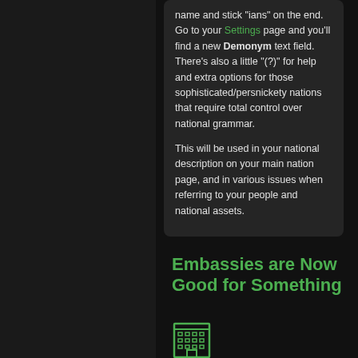name and stick "ians" on the end. Go to your Settings page and you'll find a new Demonym text field. There's also a little "(?)" for help and extra options for those sophisticated/persnickety nations that require total control over national grammar.

This will be used in your national description on your main nation page, and in various issues when referring to your people and national assets.
Embassies are Now Good for Something
[Figure (illustration): Building/embassy icon rendered in green outline style]